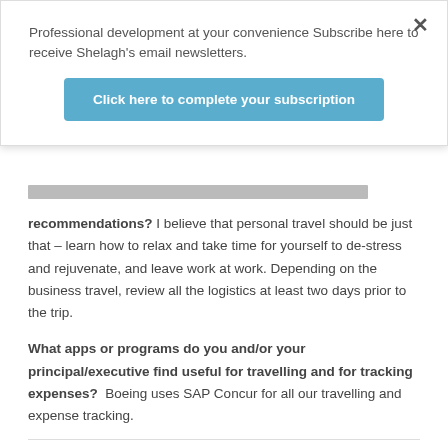Professional development at your convenience Subscribe here to receive Shelagh's email newsletters.
Click here to complete your subscription
[Figure (screenshot): Gray banner image partially visible]
recommendations? I believe that personal travel should be just that – learn how to relax and take time for yourself to de-stress and rejuvenate, and leave work at work. Depending on the business travel, review all the logistics at least two days prior to the trip.
What apps or programs do you and/or your principal/executive find useful for travelling and for tracking expenses? Boeing uses SAP Concur for all our travelling and expense tracking.